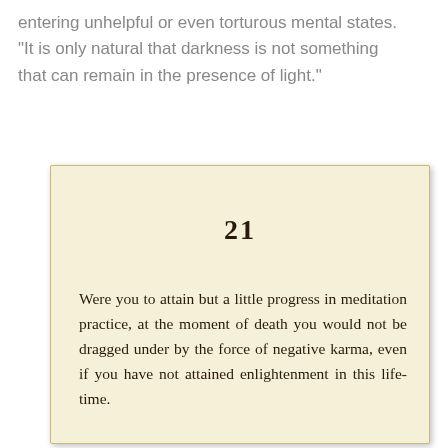entering unhelpful or even torturous mental states. "It is only natural that darkness is not something that can remain in the presence of light."
[Figure (photo): Photograph of an aged book page with cream/yellow background showing chapter number 21 and body text about meditation practice and karma.]
Were you to attain but a little progress in meditation practice, at the moment of death you would not be dragged under by the force of negative karma, even if you have not attained enlightenment in this life-time.